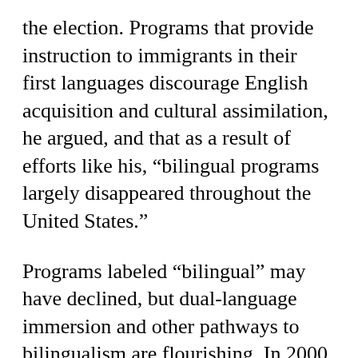the election. Programs that provide instruction to immigrants in their first languages discourage English acquisition and cultural assimilation, he argued, and that as a result of efforts like his, “bilingual programs largely disappeared throughout the United States.”
Programs labeled “bilingual” may have declined, but dual-language immersion and other pathways to bilingualism are flourishing. In 2000, there were around 260 programs in the United States. This put English-learners in classrooms with native English-speakers to learn two languages. While no one knows quite how many there are today, 39 states (and Washington, D.C.), offer dual-language